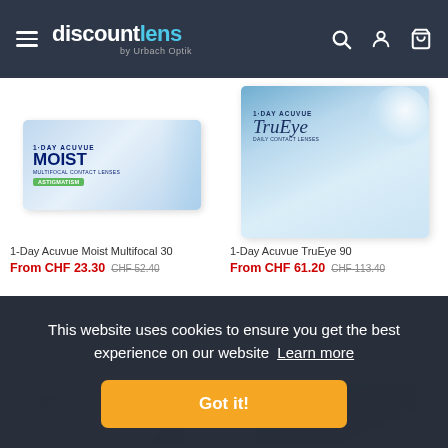discountlens by Urbach Optik
[Figure (photo): Product image of 1-Day Acuvue Moist Multifocal 30 contact lens box]
1-Day Acuvue Moist Multifocal 30
From CHF 23.30  CHF 52.40
[Figure (photo): Product image of 1-Day Acuvue TruEye 90 contact lens box]
1-Day Acuvue TruEye 90
From CHF 61.20  CHF 113.40
This website uses cookies to ensure you get the best experience on our website  Learn more
Got it!